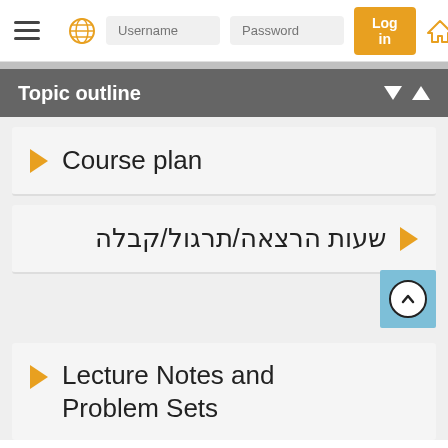Username | Password | Log in
Topic outline
Course plan
שעות הרצאה/תרגול/קבלה
Lecture Notes and Problem Sets